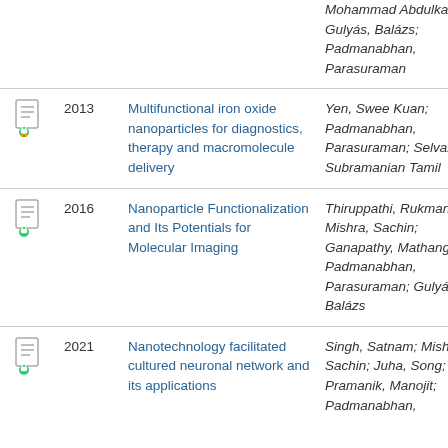|  | Year | Title | Authors |
| --- | --- | --- | --- |
| [icon] |  |  | Mohammad Abdulkader; Gulyás, Balázs; Padmanabhan, Parasuraman |
| [icon] | 2013 | Multifunctional iron oxide nanoparticles for diagnostics, therapy and macromolecule delivery | Yen, Swee Kuan; Padmanabhan, Parasuraman; Selvan, Subramanian Tamil |
| [icon] | 2016 | Nanoparticle Functionalization and Its Potentials for Molecular Imaging | Thiruppathi, Rukmani; Mishra, Sachin; Ganapathy, Mathangi; Padmanabhan, Parasuraman; Gulyás, Balázs |
| [icon] | 2021 | Nanotechnology facilitated cultured neuronal network and its applications | Singh, Satnam; Mishra, Sachin; Juha, Song; Pramanik, Manojit; Padmanabhan, |